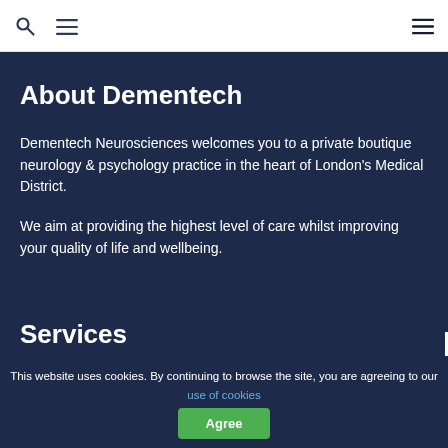Navigation bar with search, menu icons
About Dementech
Dementech Neurosciences welcomes you to a private boutique neurology & psychology practice in the heart of London's Medical District.
We aim at providing the highest level of care whilst improving your quality of life and wellbeing.
Services
This website uses cookies. By continuing to browse the site, you are agreeing to our use of cookies